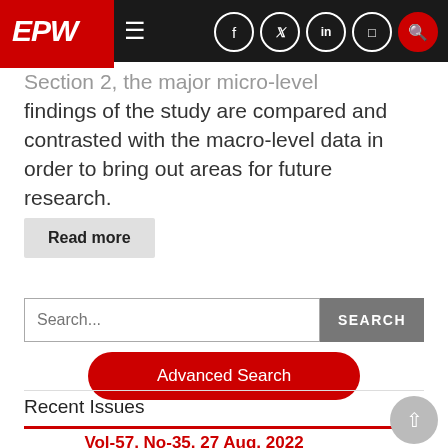EPW
...Section 2, the major micro-level findings of the study are compared and contrasted with the macro-level data in order to bring out areas for future research.
Read more
Search...
Advanced Search
Recent Issues
Vol-57, No-35, 27 Aug, 2022
Contents